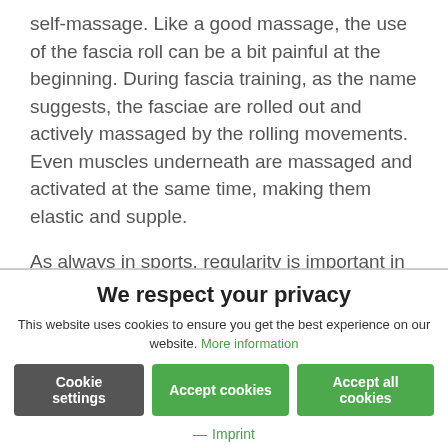self-massage. Like a good massage, the use of the fascia roll can be a bit painful at the beginning. During fascia training, as the name suggests, the fasciae are rolled out and actively massaged by the rolling movements. Even muscles underneath are massaged and activated at the same time, making them elastic and supple.
As always in sports, regularity is important in fascial training. It is best to massage yourself at least every two days with your fascia roll. So you will quickly feel the relaxing effect of the
We respect your privacy
This website uses cookies to ensure you get the best experience on our website. More information
Cookie settings | Accept cookies | Accept all cookies
— Imprint